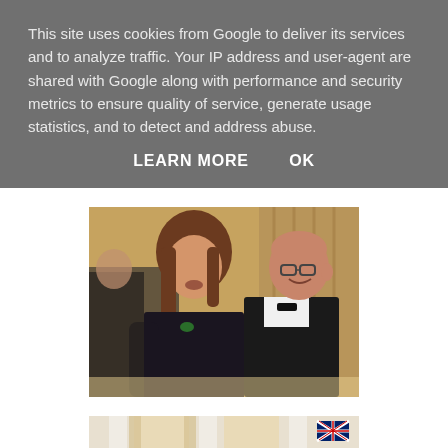This site uses cookies from Google to deliver its services and to analyze traffic. Your IP address and user-agent are shared with Google along with performance and security metrics to ensure quality of service, generate usage statistics, and to detect and address abuse.
LEARN MORE   OK
[Figure (photo): Two people at a formal dinner event. A woman with shoulder-length brown hair wearing a black lace dress with a green brooch is in the foreground. Behind her is a bald man wearing glasses and a tuxedo with white bow tie. The background shows a grand room with draped curtains and other guests.]
[Figure (photo): Partial view of an ornate room with white columns, tall arched windows with light curtains, and a British flag (Union Jack) visible on the right side.]